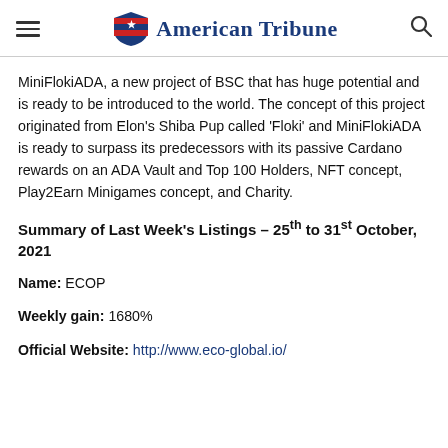American Tribune
MiniFlokiADA, a new project of BSC that has huge potential and is ready to be introduced to the world. The concept of this project originated from Elon's Shiba Pup called 'Floki' and MiniFlokiADA is ready to surpass its predecessors with its passive Cardano rewards on an ADA Vault and Top 100 Holders, NFT concept, Play2Earn Minigames concept, and Charity.
Summary of Last Week's Listings – 25th to 31st October, 2021
Name: ECOP
Weekly gain: 1680%
Official Website: http://www.eco-global.io/